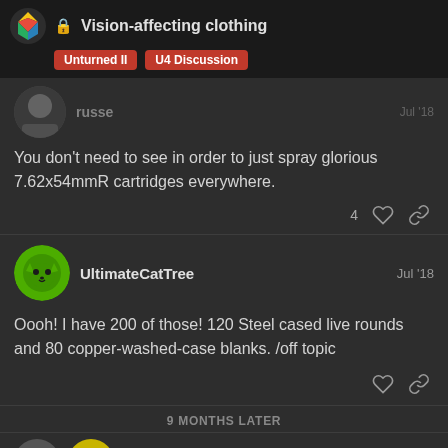Vision-affecting clothing — Unturned II | U4 Discussion
You don't need to see in order to just spray glorious 7.62x54mmR cartridges everywhere.
UltimateCatTree  Jul '18
Oooh! I have 200 of those! 120 Steel cased live rounds and 80 copper-washed-case blanks. /off topic
9 MONTHS LATER
CLOSED ON APR 1, '18